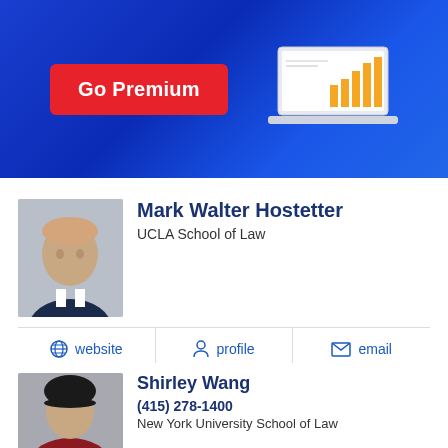[Figure (illustration): Blue banner with 'Go Premium' red button and laptop with bar chart icon]
Mark Walter Hostetter
UCLA School of Law
website | profile | email
Shirley Wang
(415) 278-1400
New York University School of Law
website | profile | email
Anthony Williams (partial)